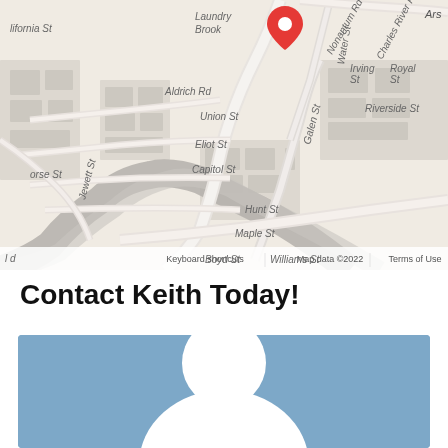[Figure (map): Google Maps screenshot showing area around Charles River Rd and Nonantum Rd in Newton/Watertown MA. Street labels include Arsenal St, Laundry Brook, lifornia St, Aldrich Rd, Union St, Eliot St, Capitol St, Jewett St, Boyd St, Galen St, Water St, Hunt St, Maple St, Williams St, Irving St, Royal St, Riverside St, Nonantum Rd, Charles River Rd, Charles River. A red map pin is visible near top center. Perkins School for the Blind partially visible. Zoom +/- controls visible on right side. Bottom bar shows: Keyboard shortcuts, Map data ©2022, Terms of Use.]
Contact Keith Today!
[Figure (photo): Blue rectangle with a white generic person/avatar silhouette placeholder image - circle head and rounded body shape on steel blue background.]